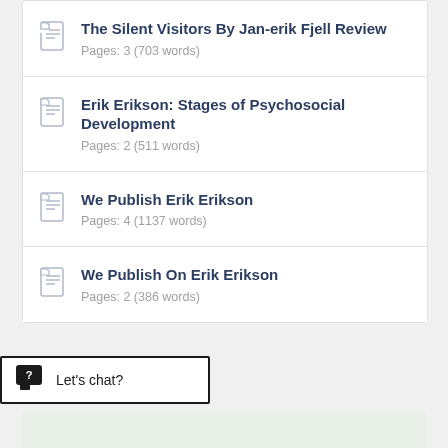The Silent Visitors By Jan-erik Fjell Review
Pages: 3 (703 words)
Erik Erikson: Stages of Psychosocial Development
Pages: 2 (511 words)
We Publish Erik Erikson
Pages: 4 (1137 words)
We Publish On Erik Erikson
Pages: 2 (386 words)